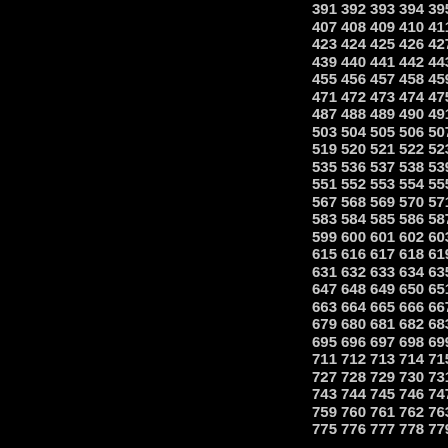| 391 | 392 | 393 | 394 | 395 | 396 |
| 407 | 408 | 409 | 410 | 411 | 412 |
| 423 | 424 | 425 | 426 | 427 | 428 |
| 439 | 440 | 441 | 442 | 443 | 444 |
| 455 | 456 | 457 | 458 | 459 | 460 |
| 471 | 472 | 473 | 474 | 475 | 476 |
| 487 | 488 | 489 | 490 | 491 | 492 |
| 503 | 504 | 505 | 506 | 507 | 508 |
| 519 | 520 | 521 | 522 | 523 | 524 |
| 535 | 536 | 537 | 538 | 539 | 540 |
| 551 | 552 | 553 | 554 | 555 | 556 |
| 567 | 568 | 569 | 570 | 571 | 572 |
| 583 | 584 | 585 | 586 | 587 | 588 |
| 599 | 600 | 601 | 602 | 603 | 604 |
| 615 | 616 | 617 | 618 | 619 | 620 |
| 631 | 632 | 633 | 634 | 635 | 636 |
| 647 | 648 | 649 | 650 | 651 | 652 |
| 663 | 664 | 665 | 666 | 667 | 668 |
| 679 | 680 | 681 | 682 | 683 | 684 |
| 695 | 696 | 697 | 698 | 699 | 700 |
| 711 | 712 | 713 | 714 | 715 | 716 |
| 727 | 728 | 729 | 730 | 731 | 732 |
| 743 | 744 | 745 | 746 | 747 | 748 |
| 759 | 760 | 761 | 762 | 763 | 764 |
| 775 | 776 | 777 | 778 | 779 | 780 |